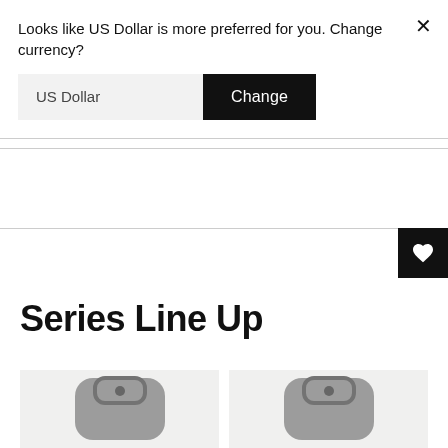Looks like US Dollar is more preferred for you. Change currency?
US Dollar
Change
Series Line Up
[Figure (photo): Two product photos of black bags/luggage shown side by side at the bottom of the page]
[Figure (other): Heart/wishlist icon button in black square on right side]